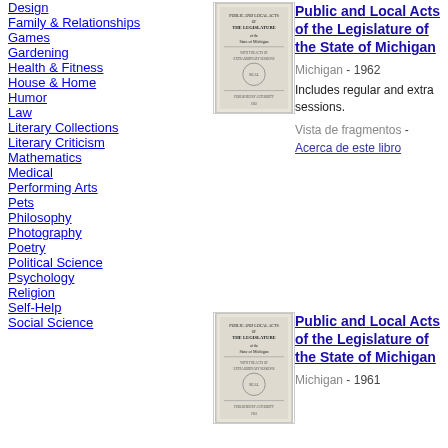Design
Family & Relationships
Games
Gardening
Health & Fitness
House & Home
Humor
Law
Literary Collections
Literary Criticism
Mathematics
Medical
Performing Arts
Pets
Philosophy
Photography
Poetry
Political Science
Psychology
Religion
Self-Help
Social Science
[Figure (illustration): Book cover thumbnail for Public and Local Acts of the Legislature of the State of Michigan, 1962]
Public and Local Acts of the Legislature of the State of Michigan
Michigan - 1962
Includes regular and extra sessions.
Vista de fragmentos - Acerca de este libro
[Figure (illustration): Book cover thumbnail for Public and Local Acts of the Legislature of the State of Michigan, 1961]
Public and Local Acts of the Legislature of the State of Michigan
Michigan - 1961